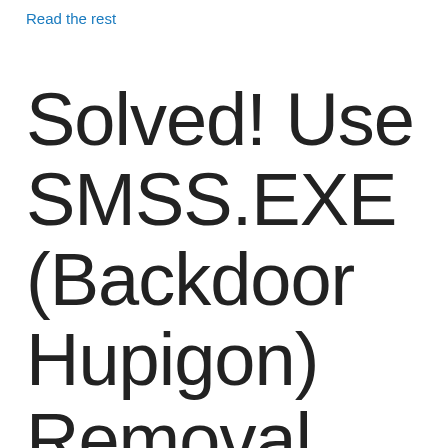Read the rest
Solved! Use SMSS.EXE (Backdoor Hupigon) Removal